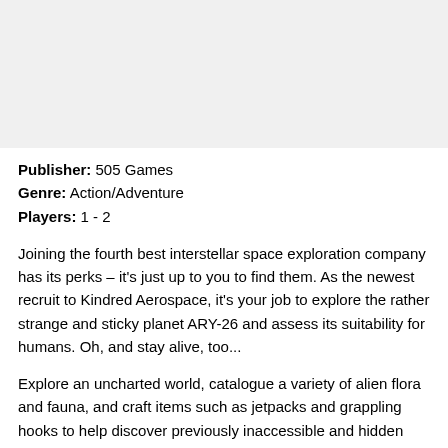Publisher: 505 Games
Genre: Action/Adventure
Players: 1 - 2
Joining the fourth best interstellar space exploration company has its perks – it's just up to you to find them. As the newest recruit to Kindred Aerospace, it's your job to explore the rather strange and sticky planet ARY-26 and assess its suitability for humans. Oh, and stay alive, too...
Explore an uncharted world, catalogue a variety of alien flora and fauna, and craft items such as jetpacks and grappling hooks to help discover previously inaccessible and hidden areas. Your trusty laser and other items are on